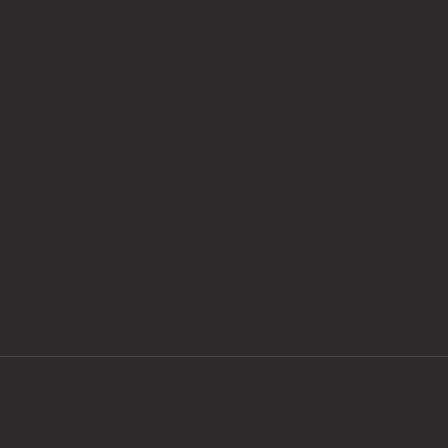[Figure (other): Dark background main content area, mostly empty/dark]
© 2022 Asian Health Services. All Rights Reserved.
Select Language